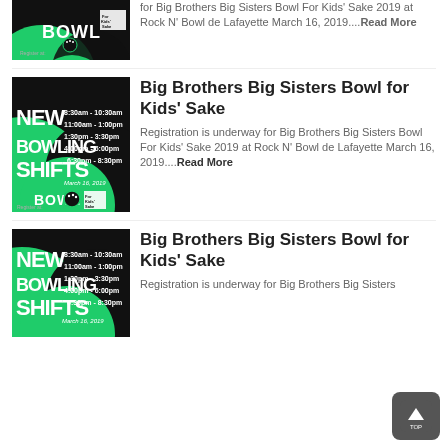[Figure (illustration): Partial top image: New Bowling Shifts promotional poster for Big Brothers Big Sisters Bowl For Kids Sake 2019 at Rock N Bowl de Lafayette, cropped at top]
for Big Brothers Big Sisters Bowl For Kids' Sake 2019 at Rock N' Bowl de Lafayette March 16, 2019....Read More
[Figure (illustration): New Bowling Shifts promotional poster - green and black design showing new time shifts: 8:30am-10:30am, 11:00am-1:00pm, 1:30pm-3:30pm, 4:00pm-6:00pm, 6:30pm-8:30pm, March 16 2019, Bowl For Kids Sake logo]
Big Brothers Big Sisters Bowl for Kids’ Sake
Registration is underway for Big Brothers Big Sisters Bowl For Kids' Sake 2019 at Rock N' Bowl de Lafayette March 16, 2019....Read More
[Figure (illustration): New Bowling Shifts promotional poster - same green and black design, second instance]
Big Brothers Big Sisters Bowl for Kids’ Sake
Registration is underway for Big Brothers Big Sisters